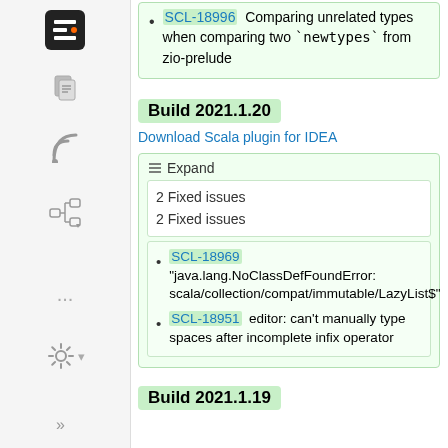SCL-18996  Comparing unrelated types when comparing two `newtypes` from zio-prelude
Build 2021.1.20
Download Scala plugin for IDEA
Expand
2 Fixed issues
2 Fixed issues
SCL-18969  "java.lang.NoClassDefFoundError: scala/collection/compat/immutable/LazyList$"
SCL-18951  editor: can't manually type spaces after incomplete infix operator
Build 2021.1.19